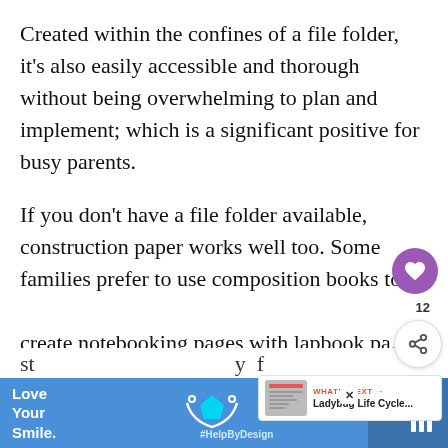Created within the confines of a file folder, it's also easily accessible and thorough without being overwhelming to plan and implement; which is a significant positive for busy parents.
If you don't have a file folder available, construction paper works well too. Some families prefer to use composition books to create notebooking pages with lapbook pa... printables.
This is a great way to keep all of the unit st... y f...
[Figure (other): Advertisement banner at bottom: blue background with 'Love Your Smile.' text on left, cyan pentagon shape in center, #HelpByDesign hashtag, and dark panel on right. Has close X button.]